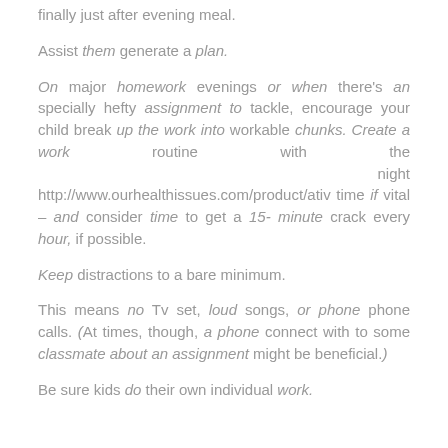finally just after evening meal.
Assist them generate a plan.
On major homework evenings or when there's an specially hefty assignment to tackle, encourage your child break up the work into workable chunks. Create a work routine with the night http://www.ourhealthissues.com/product/ativ time if vital – and consider time to get a 15-minute crack every hour, if possible.
Keep distractions to a bare minimum.
This means no Tv set, loud songs, or phone phone calls. (At times, though, a phone connect with to some classmate about an assignment might be beneficial.)
Be sure kids do their own individual work.